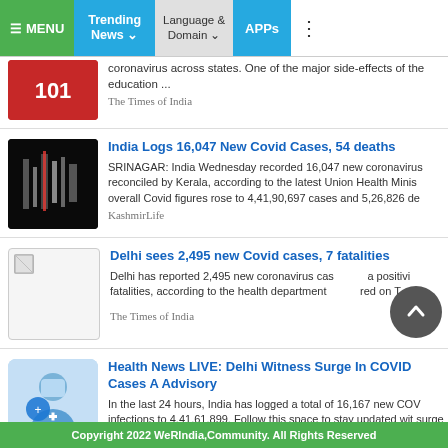MENU | Trending News | Language & Domain | APPs
coronavirus across states. One of the major side-effects of the education ... The Times of India
India Logs 16,047 New Covid Cases, 54 deaths
SRINAGAR: India Wednesday recorded 16,047 new coronavirus reconciled by Kerala, according to the latest Union Health Minis overall Covid figures rose to 4,41,90,697 cases and 5,26,826 de KashmirLife
Delhi sees 2,495 new Covid cases, 7 fatalities
Delhi has reported 2,495 new coronavirus cas a positivi fatalities, according to the health department red on T The Times of India
Health News LIVE: Delhi Witness Surge In COVID Cases A Advisory
In the last 24 hours, India has logged a total of 16,167 new COV infections to 4,41,61,899. Follow this space to stay updated wit surge in India. The HealthSite
Copyright 2022 WeRIndia,Community. All Rights Reserved